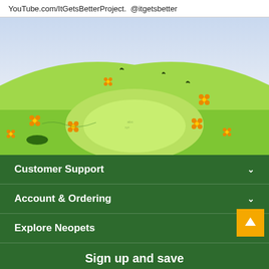YouTube.com/ItGetsBetterProject.  @itgetsbetter
[Figure (illustration): Illustrated green rolling hills landscape with orange flowers, lighter green oval clearing in the center, blue-tinted sky in the background. Cartoon-style Neopets themed environment.]
Customer Support
Account & Ordering
Explore Neopets
Sign up and save